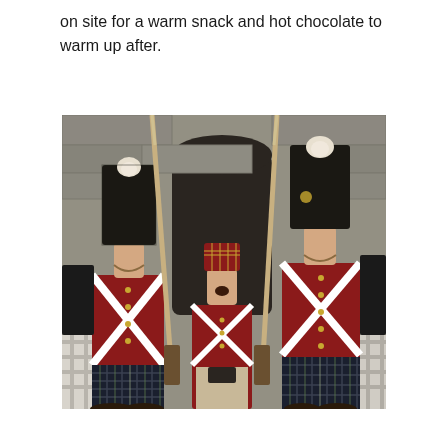on site for a warm snack and hot chocolate to warm up after.
[Figure (photo): Three soldiers in traditional Scottish Highland military uniforms (red jackets, kilts, tall black bearskin hats with white plumes) holding rifles with bayonets, standing in front of a stone building. Two face each other in conversation while a third in the background appears to be yawning.]
...and a little more content continues on the page...